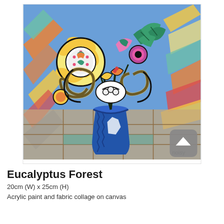[Figure (illustration): A vibrant acrylic and fabric collage painting titled 'Eucalyptus Forest' showing a colorful bouquet of stylized flowers and leaves in a blue vase, set against a geometric patterned background with bold blacks, yellows, pinks, greens and blues. Signed 'noisy' at bottom right.]
Eucalyptus Forest
20cm (W) x 25cm (H)
Acrylic paint and fabric collage on canvas